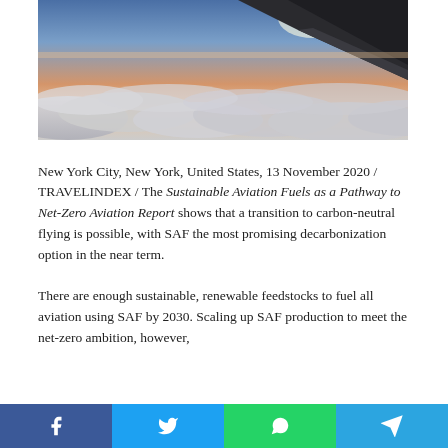[Figure (photo): Aerial photo taken from an airplane window showing the wing tip against a sky with clouds below and a sunset/sunrise glow on the horizon.]
New York City, New York, United States, 13 November 2020 / TRAVELINDEX / The Sustainable Aviation Fuels as a Pathway to Net-Zero Aviation Report shows that a transition to carbon-neutral flying is possible, with SAF the most promising decarbonization option in the near term.
There are enough sustainable, renewable feedstocks to fuel all aviation using SAF by 2030. Scaling up SAF production to meet the net-zero ambition, however,